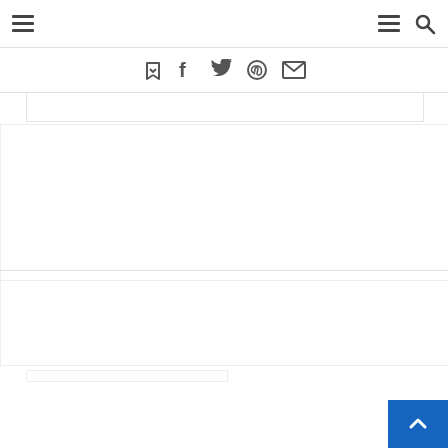Navigation bar with hamburger menus and search icon
[Figure (screenshot): Social sharing icon bar with bookmark/yummly, Facebook, Twitter, Pinterest, and email icons, followed by a horizontal divider]
[Figure (screenshot): Main content area with light placeholder/ad rectangles on white background]
[Figure (other): Blue back-to-top button in bottom right corner with upward chevron arrow]